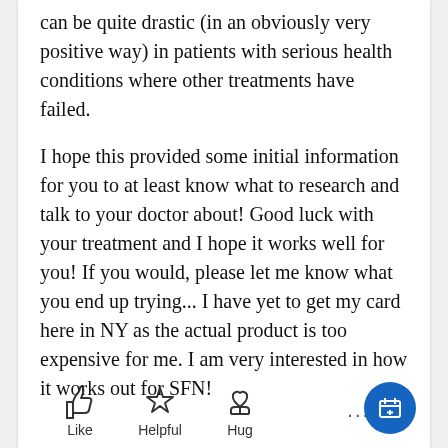can be quite drastic (in an obviously very positive way) in patients with serious health conditions where other treatments have failed.

I hope this provided some initial information for you to at least know what to research and talk to your doctor about! Good luck with your treatment and I hope it works well for you! If you would, please let me know what you end up trying... I have yet to get my card here in NY as the actual product is too expensive for me. I am very interested in how it works out for SFN!
[Figure (illustration): Thumbs up Like icon]
[Figure (illustration): Star Helpful icon]
[Figure (illustration): Heart/hand Hug icon]
[Figure (illustration): Blue circular FAB button with calendar/add icon]